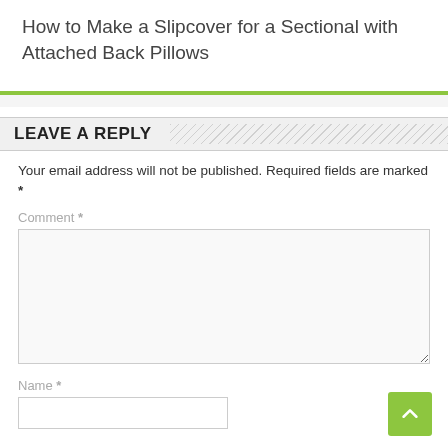How to Make a Slipcover for a Sectional with Attached Back Pillows
LEAVE A REPLY
Your email address will not be published. Required fields are marked *
Comment *
Name *